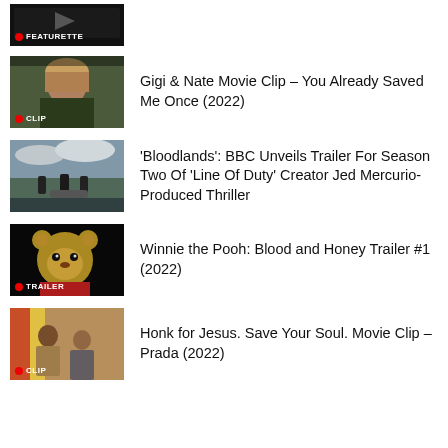[Figure (screenshot): Video thumbnail with FEATURETTE badge, dark background]
[Figure (screenshot): Video thumbnail with CLIP badge, woman with blonde hair]
Gigi & Nate Movie Clip – You Already Saved Me Once (2022)
[Figure (screenshot): Video thumbnail, three figures on shoreline - Bloodlands]
'Bloodlands': BBC Unveils Trailer For Season Two Of 'Line Of Duty' Creator Jed Mercurio-Produced Thriller
[Figure (screenshot): Video thumbnail with TRAILER badge, Winnie the Pooh horror]
Winnie the Pooh: Blood and Honey Trailer #1 (2022)
[Figure (screenshot): Video thumbnail with CLIP badge, Honk for Jesus movie]
Honk for Jesus. Save Your Soul. Movie Clip – Prada (2022)